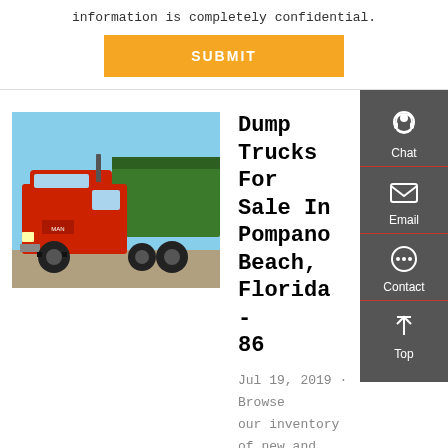information is completely confidential.
[Figure (other): Orange SUBMIT button]
[Figure (photo): Red dump truck parked outdoors, side view showing cab and dump bed]
Dump Trucks For Sale In Pompano Beach, Florida - 86
Jul 19, 2019 · Browse our inventory of new and used Dump Trucks For Sale In Pompano Beach,